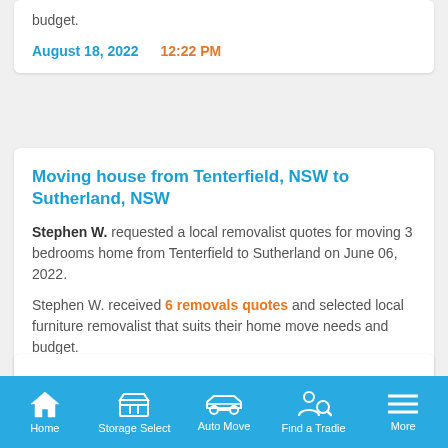budget.
August 18, 2022   12:22 PM
Moving house from Tenterfield, NSW to Sutherland, NSW
Stephen W. requested a local removalist quotes for moving 3 bedrooms home from Tenterfield to Sutherland on June 06, 2022.
Stephen W. received 6 removals quotes and selected local furniture removalist that suits their home move needs and budget.
May 15, 2022   4:27 PM
Moving house from Tuggerawong, NSW to Cannonvale, QLD
Home   Storage Select   Auto Move   Find a Tradie   More